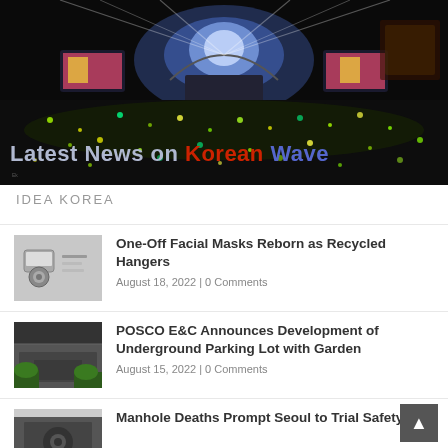[Figure (photo): Aerial night view of a large outdoor K-pop concert with crowd, stage lights, and large LED screens. Text overlay reads 'Latest News on Korean Wave'.]
IDEA KOREA
[Figure (photo): Thumbnail of recycled hangers made from facial masks]
One-Off Facial Masks Reborn as Recycled Hangers
August 18, 2022 | 0 Comments
[Figure (photo): Thumbnail of an underground parking lot with garden greenery]
POSCO E&C Announces Development of Underground Parking Lot with Garden
August 15, 2022 | 0 Comments
[Figure (photo): Thumbnail for manhole deaths article]
Manhole Deaths Prompt Seoul to Trial Safety